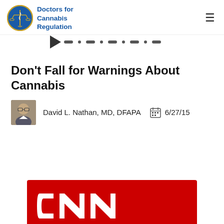[Figure (logo): Doctors for Cannabis Regulation logo — circular blue/gold medical scales emblem with text 'Doctors for Cannabis Regulation' in blue to the right]
[Figure (other): Navigation strip with a black arrow/triangle pointing right followed by a row of small dots/dashes (navigation breadcrumb or pagination indicator)]
Don't Fall for Warnings About Cannabis
[Figure (photo): Small headshot photo of David L. Nathan, MD, DFAPA — man with glasses, short hair, wearing white shirt]
David L. Nathan, MD, DFAPA   6/27/15
[Figure (logo): CNN logo — large white letters 'CNN' on red background, partially visible at the bottom of the page]